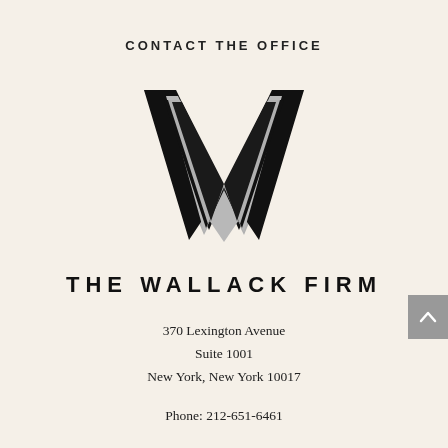CONTACT THE OFFICE
[Figure (logo): The Wallack Firm logo — a stylized bold W with black and gray outline letterform]
THE WALLACK FIRM
370 Lexington Avenue
Suite 1001
New York, New York 10017
Phone: 212-651-6461